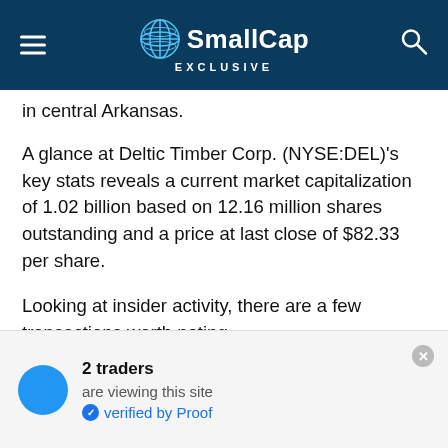SmallCap EXCLUSIVE
in central Arkansas.
A glance at Deltic Timber Corp. (NYSE:DEL)'s key stats reveals a current market capitalization of 1.02 billion based on 12.16 million shares outstanding and a price at last close of $82.33 per share.
Looking at insider activity, there are a few transactions worth noting.
Specifically, on 2016-11-07, Nolan picked up 1,044 at a purchase price of $59.15. This brings their total holding
2 traders are viewing this site verified by Proof